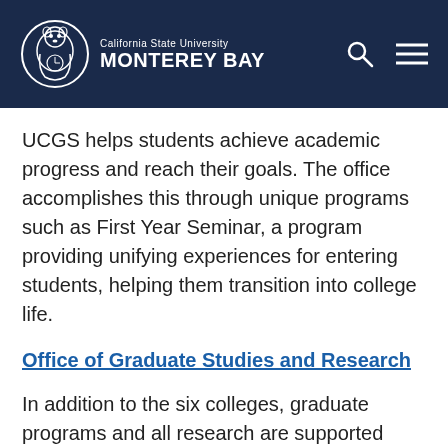[Figure (logo): California State University Monterey Bay logo with otter mascot and navigation icons (search, hamburger menu) on dark navy header bar]
UCGS helps students achieve academic progress and reach their goals. The office accomplishes this through unique programs such as First Year Seminar, a program providing unifying experiences for entering students, helping them transition into college life.
Office of Graduate Studies and Research
In addition to the six colleges, graduate programs and all research are supported